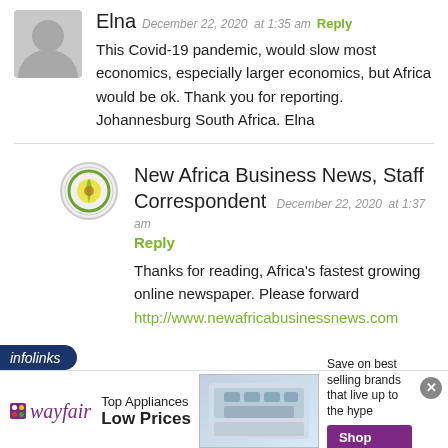Elna  December 22, 2020  at 1:35 am  Reply
This Covid-19 pandemic, would slow most economics, especially larger economics, but Africa would be ok. Thank you for reporting. Johannesburg South Africa. Elna
New Africa Business News, Staff Correspondent  December 22, 2020  at 1:37 am
Reply
Thanks for reading, Africa's fastest growing online newspaper. Please forward http://www.newafricabusinessnews.com
[Figure (infographic): Infolinks ad bar with Wayfair advertisement showing top appliances, low prices, shop now button]